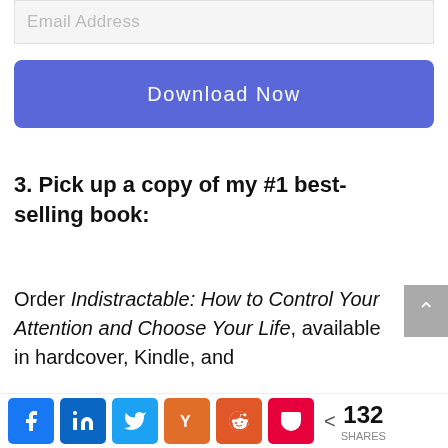[Figure (screenshot): Email address input field (placeholder text)]
[Figure (screenshot): Blue 'Download Now' button]
3. Pick up a copy of my #1 best-selling book:
Order Indistractable: How to Control Your Attention and Choose Your Life, available in hardcover, Kindle, and
[Figure (screenshot): Social share bar with Facebook, LinkedIn, Twitter, Hacker News, Reddit, Pocket icons and 132 SHARES count]